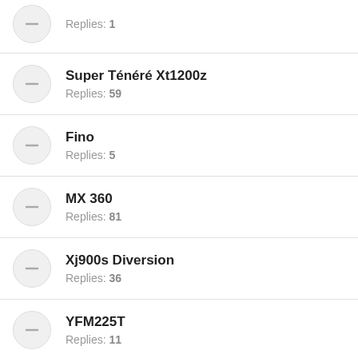Replies: 1
Super Ténéré Xt1200z
Replies: 59
Fino
Replies: 5
MX 360
Replies: 81
Xj900s Diversion
Replies: 36
YFM225T
Replies: 11
X-City